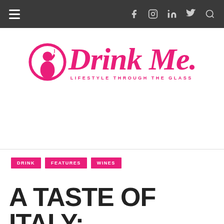Navigation bar with hamburger menu, Facebook, Instagram, LinkedIn, Twitter, Search icons
[Figure (logo): DrinkMe. logo with circle silhouette icon and script text, tagline: LIFESTYLE THROUGH THE GLASS]
DRINK
FEATURES
WINES
A TASTE OF ITALY: